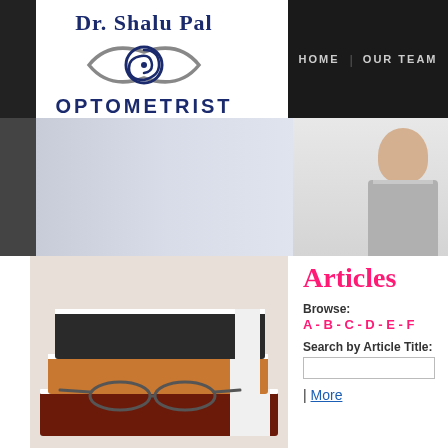[Figure (logo): Dr. Shalu Pal Optometrist logo with eye symbol and tagline EYE CARE. EYE HEALTH. EYE WEAR.]
HOME   OUR TEAM
[Figure (photo): Hero banner with person on right side, light background]
[Figure (photo): Stack of books with reading glasses on top]
Articles
Browse:
A - B - C - D - E - F
Search by Article Title:
| More